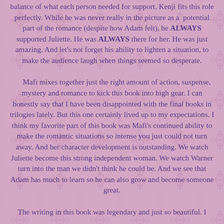balance of what each person needed for support. Kenji fits this role perfectly. While he was never really in the picture as a potential part of the romance (despite how Adam felt), he ALWAYS supported Juliette. He was ALWAYS there for her. He was just amazing. And let's not forget his ability to lighten a situation, to make the audience laugh when things seemed so desperate.
Mafi mixes together just the right amount of action, suspense, mystery and romance to kick this book into high gear. I can honestly say that I have been disappointed with the final books in trilogies lately. But this one certainly lived up to my expectations. I think my favorite part of this book was Mafi's continued ability to make the romantic situations so intense you just could not turn away. And her character development is outstanding. We watch Juliette become this strong independent woman. We watch Warner turn into the man we didn't think he could be. And we see that Adam has much to learn so he can also grow and become someone great.
The writing in this book was legendary and just so beautiful. I